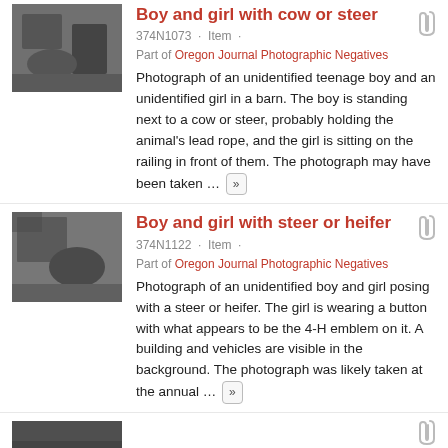[Figure (photo): Thumbnail photograph of a boy and girl with cow or steer in a barn, black and white]
Boy and girl with cow or steer
374N1073 · Item ·
Part of Oregon Journal Photographic Negatives
Photograph of an unidentified teenage boy and an unidentified girl in a barn. The boy is standing next to a cow or steer, probably holding the animal's lead rope, and the girl is sitting on the railing in front of them. The photograph may have been taken …
[Figure (photo): Thumbnail photograph of a boy and girl with steer or heifer, black and white]
Boy and girl with steer or heifer
374N1122 · Item ·
Part of Oregon Journal Photographic Negatives
Photograph of an unidentified boy and girl posing with a steer or heifer. The girl is wearing a button with what appears to be the 4-H emblem on it. A building and vehicles are visible in the background. The photograph was likely taken at the annual …
[Figure (photo): Partial thumbnail photograph at bottom of page, black and white]